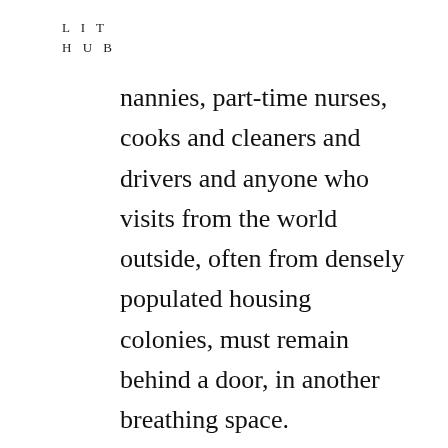L I T
H U B
nannies, part-time nurses, cooks and cleaners and drivers and anyone who visits from the world outside, often from densely populated housing colonies, must remain behind a door, in another breathing space.